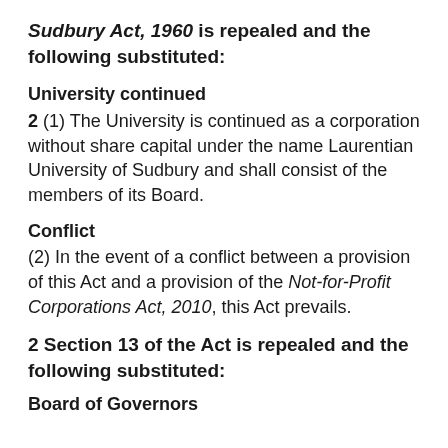Sudbury Act, 1960 is repealed and the following substituted:
University continued
2 (1) The University is continued as a corporation without share capital under the name Laurentian University of Sudbury and shall consist of the members of its Board.
Conflict
(2) In the event of a conflict between a provision of this Act and a provision of the Not-for-Profit Corporations Act, 2010, this Act prevails.
2 Section 13 of the Act is repealed and the following substituted:
Board of Governors